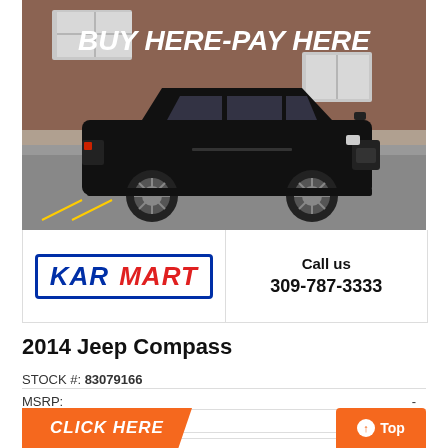[Figure (photo): A black Jeep Compass SUV parked in front of a brick building with a sign reading BUY HERE - PAY HERE]
[Figure (logo): KAR MART logo in blue and red on white background with blue border]
Call us
309-787-3333
2014 Jeep Compass
STOCK #: 83079166
MSRP:	-
Dealer Discount	Call Us